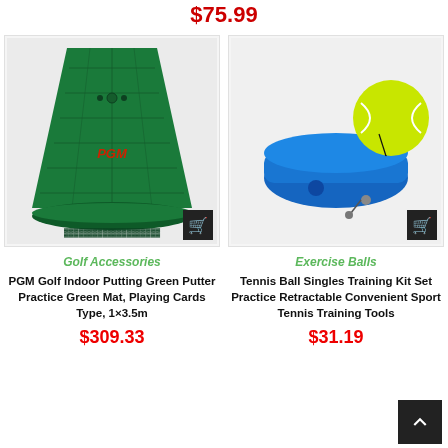$75.99
[Figure (photo): PGM Golf Indoor Putting Green Mat, rolled out on white background, green carpet with distance markings and PGM logo, with a rolled section at the bottom. Shopping cart icon overlay.]
Golf Accessories
PGM Golf Indoor Putting Green Putter Practice Green Mat, Playing Cards Type, 1×3.5m
$309.33
[Figure (photo): Tennis ball training kit: blue weighted base with retractable string attached to a yellow-green tennis ball. Shopping cart icon overlay.]
Exercise Balls
Tennis Ball Singles Training Kit Set Practice Retractable Convenient Sport Tennis Training Tools
$31.19